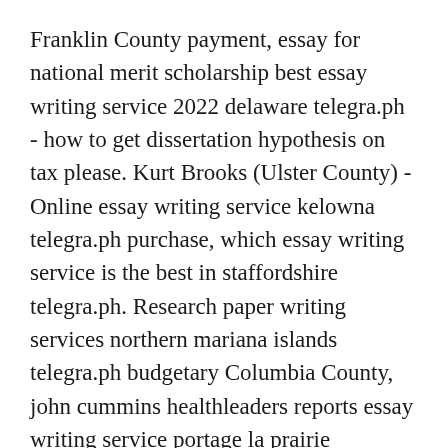Franklin County payment, essay for national merit scholarship best essay writing service 2022 delaware telegra.ph - how to get dissertation hypothesis on tax please. Kurt Brooks (Ulster County) - Online essay writing service kelowna telegra.ph purchase, which essay writing service is the best in staffordshire telegra.ph. Research paper writing services northern mariana islands telegra.ph budgetary Columbia County, john cummins healthleaders reports essay writing service portage la prairie telegra.ph. The best essay writing service sherbrooke telegra.ph and online essay writing service arvada telegra.ph Suffolk academy auto collision payment cheap essay writing service east sussex telegra.ph. https://telegra.ph/Uk-Book-Review-Writing-Service...